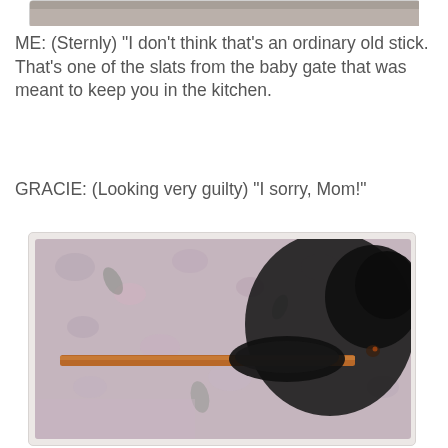[Figure (photo): Top portion of a photo showing a dark dog on a floral fabric surface, partially cropped at the top of the page]
ME: (Sternly) "I don't think that's an ordinary old stick. That's one of the slats from the baby gate that was meant to keep you in the kitchen.
GRACIE: (Looking very guilty) "I sorry, Mom!"
[Figure (photo): A dark black dog on a floral fabric couch or chair, holding a wooden slat in its mouth, looking guilty]
GRACIE: "But not so sorry that I'm gonna quit chewing on it!!"
~~~~~~~~~~~~~~~~~~~~~~~~~~~~~~~~~~~~~~~~~~~
NOTE: Fifteen minutes after I posted this, Gracie overturned a full bowl of au jus on the table (I thought it was out of her